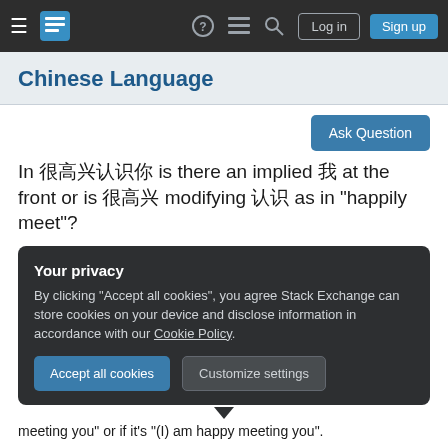Chinese Language Stack Exchange navigation bar with login and sign up buttons
Chinese Language
In 很高兴认识你 is there an implied 我 at the front or is 很高兴 modifying 认识 as in "happily meet"?
Your privacy
By clicking "Accept all cookies", you agree Stack Exchange can store cookies on your device and disclose information in accordance with our Cookie Policy.
meeting you" or if it's "(I) am happy meeting you".